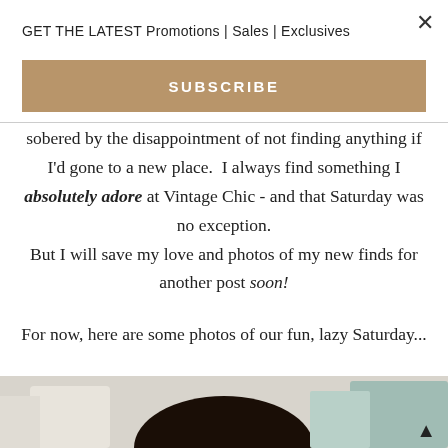GET THE LATEST Promotions | Sales | Exclusives
SUBSCRIBE
sobered by the disappointment of not finding anything if I'd gone to a new place.  I always find something I absolutely adore at Vintage Chic - and that Saturday was no exception. But I will save my love and photos of my new finds for another post soon!
For now, here are some photos of our fun, lazy Saturday...
[Figure (photo): Partial photo of a person with curly dark hair, taken outdoors with blurred background buildings.]